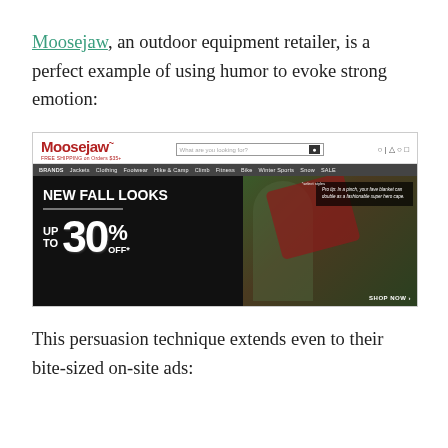Moosejaw, an outdoor equipment retailer, is a perfect example of using humor to evoke strong emotion:
[Figure (screenshot): Screenshot of the Moosejaw website showing the header with logo, search bar, navigation menu with Brands, Jackets, Clothing, Footwear, Hike & Camp, Climb, Fitness, Bike, Winter Sports, Snow, SALE, and a banner ad for 'NEW FALL LOOKS UP TO 30% OFF' with a humorous pro tip overlay and a woman holding a red plaid blanket like a cape.]
This persuasion technique extends even to their bite-sized on-site ads: